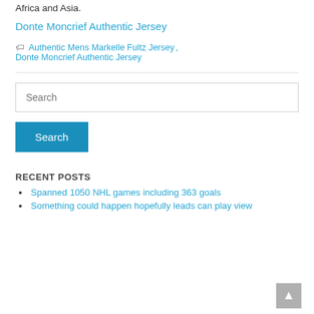Africa and Asia.
Donte Moncrief Authentic Jersey
Authentic Mens Markelle Fultz Jersey, Donte Moncrief Authentic Jersey
Search (input placeholder)
Search (button)
RECENT POSTS
Spanned 1050 NHL games including 363 goals
Something could happen hopefully leads can play view